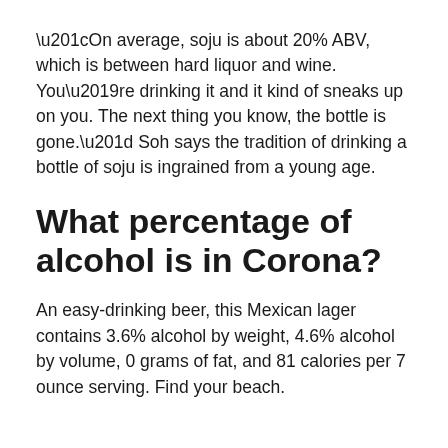“On average, soju is about 20% ABV, which is between hard liquor and wine. You’re drinking it and it kind of sneaks up on you. The next thing you know, the bottle is gone.” Soh says the tradition of drinking a bottle of soju is ingrained from a young age.
What percentage of alcohol is in Corona?
An easy-drinking beer, this Mexican lager contains 3.6% alcohol by weight, 4.6% alcohol by volume, 0 grams of fat, and 81 calories per 7 ounce serving. Find your beach.